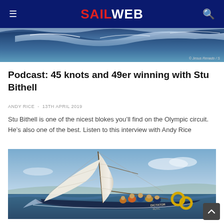SAILWEB
[Figure (photo): Ocean wave with blue water, partially visible, with photo credit 'Jesus Renado / S' visible at bottom right]
Podcast: 45 knots and 49er winning with Stu Bithell
ANDY RICE  -  13TH APRIL 2019
Stu Bithell is one of the nicest blokes you’ll find on the Olympic circuit. He’s also one of the best. Listen to this interview with Andy Rice
[Figure (photo): Sailboat named DICTATOR RUYC heeling to port with crew on deck, white sails, yellow life rings, sailing on open water]